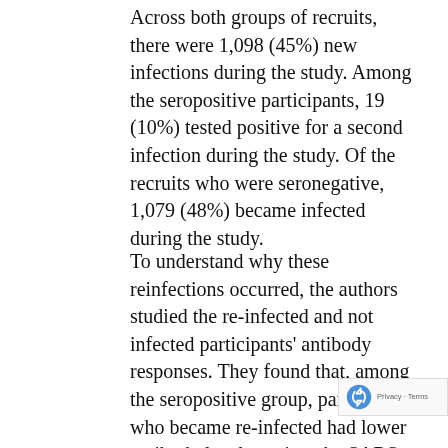Across both groups of recruits, there were 1,098 (45%) new infections during the study. Among the seropositive participants, 19 (10%) tested positive for a second infection during the study. Of the recruits who were seronegative, 1,079 (48%) became infected during the study.
To understand why these reinfections occurred, the authors studied the re-infected and not infected participants' antibody responses. They found that, among the seropositive group, participants who became re-infected had lower antibody levels against the SARS-CoV-2 virus than those who did not become re-infected. In addition, in the seropositive group, neutralizing antibodies...